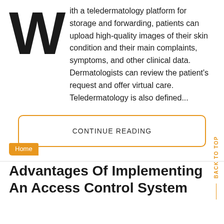With a teledermatology platform for storage and forwarding, patients can upload high-quality images of their skin condition and their main complaints, symptoms, and other clinical data. Dermatologists can review the patient's request and offer virtual care. Teledermatology is also defined...
CONTINUE READING
Home
Advantages Of Implementing An Access Control System